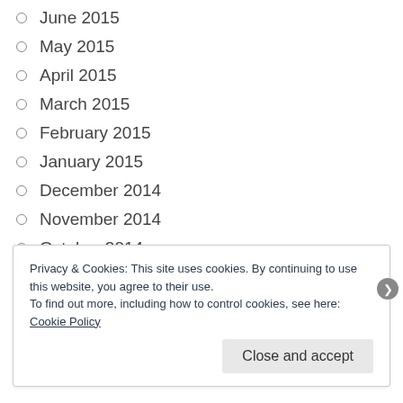June 2015
May 2015
April 2015
March 2015
February 2015
January 2015
December 2014
November 2014
October 2014
September 2014
August 2014
July 2014
Privacy & Cookies: This site uses cookies. By continuing to use this website, you agree to their use.
To find out more, including how to control cookies, see here: Cookie Policy
Close and accept